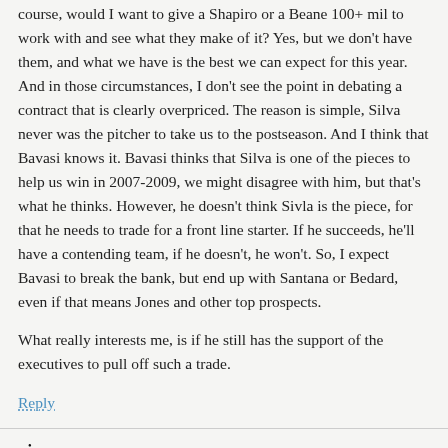course, would I want to give a Shapiro or a Beane 100+ mil to work with and see what they make of it? Yes, but we don't have them, and what we have is the best we can expect for this year. And in those circumstances, I don't see the point in debating a contract that is clearly overpriced. The reason is simple, Silva never was the pitcher to take us to the postseason. And I think that Bavasi knows it. Bavasi thinks that Silva is one of the pieces to help us win in 2007-2009, we might disagree with him, but that's what he thinks. However, he doesn't think Sivla is the piece, for that he needs to trade for a front line starter. If he succeeds, he'll have a contending team, if he doesn't, he won't. So, I expect Bavasi to break the bank, but end up with Santana or Bedard, even if that means Jones and other top prospects.
What really interests me, is if he still has the support of the executives to pull off such a trade.
Reply
vj